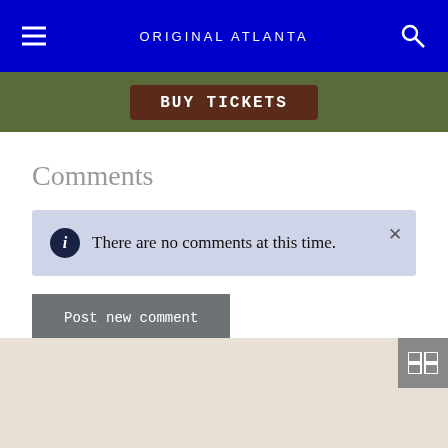ORIGINAL ATLANTA
[Figure (other): Advertisement banner with 'BUY TICKETS' button on dark olive/green background]
Comments
There are no comments at this time.
Post new comment
[Figure (map): Map area with expand button in top-right corner, showing beige/tan map background]